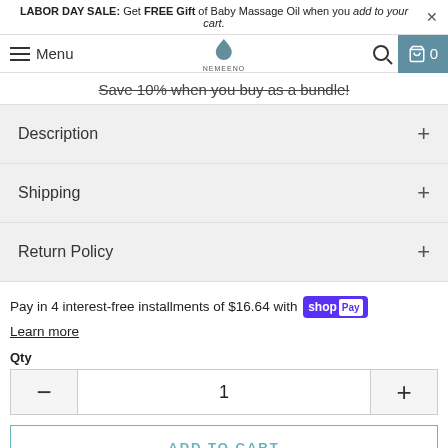LABOR DAY SALE: Get FREE Gift of Baby Massage Oil when you add to your cart.
Menu [logo] [search] [cart] 0
Save 10% when you buy as a bundle!
Description +
Shipping +
Return Policy +
Pay in 4 interest-free installments of $16.64 with shopPay
Learn more
Qty
1
ADD TO CART